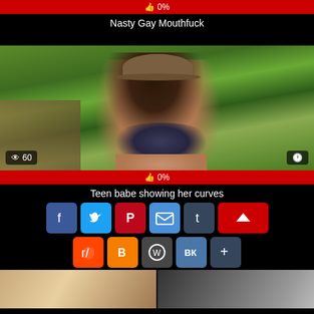0%
Nasty Gay Mouthfuck
[Figure (photo): Video thumbnail showing a woman in a black bra and hat outdoors, with view count 60 and rating bar showing 0%]
0%
Teen babe showing her curves
[Figure (infographic): Social share buttons: Facebook, Twitter, Pinterest, Email, Tumblr, Reddit, Blogger, WordPress, VK, More, and a red scroll-to-top button]
[Figure (photo): Bottom thumbnail strip showing partial images]